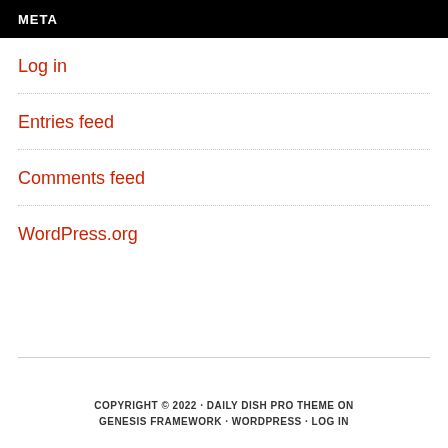META
Log in
Entries feed
Comments feed
WordPress.org
COPYRIGHT © 2022 · DAILY DISH PRO THEME ON GENESIS FRAMEWORK · WORDPRESS · LOG IN